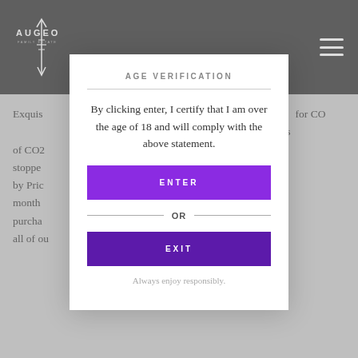[Figure (logo): Augeo Family Estate logo — arrow with text 'AUGEO' and 'FAMILY ESTATE' on dark background]
Exquis... Augeo ... for CO... Exquisit... tonnes of CO2... stopped... by Price... twelve month... 19. We purcha... ork for all of ou...
AGE VERIFICATION
By clicking enter, I certify that I am over the age of 18 and will comply with the above statement.
ENTER
OR
EXIT
Always enjoy responsibly.